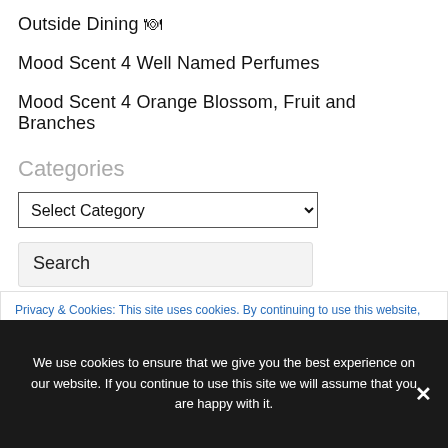Outside Dining 🍽
Mood Scent 4 Well Named Perfumes
Mood Scent 4 Orange Blossom, Fruit and Branches
Categories
Select Category
Search
Privacy & Cookies: This site uses cookies. By continuing to use this website, you agree to their use.
We use cookies to ensure that we give you the best experience on our website. If you continue to use this site we will assume that you are happy with it.